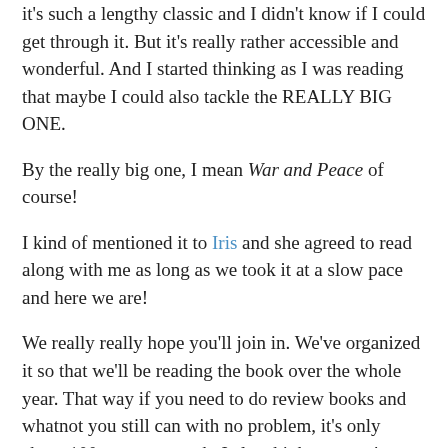it's such a lengthy classic and I didn't know if I could get through it. But it's really rather accessible and wonderful. And I started thinking as I was reading that maybe I could also tackle the REALLY BIG ONE.
By the really big one, I mean War and Peace of course!
I kind of mentioned it to Iris and she agreed to read along with me as long as we took it at a slow pace and here we are!
We really really hope you'll join in. We've organized it so that we'll be reading the book over the whole year. That way if you need to do review books and whatnot you still can with no problem, it's only about 100 pages a month. I also think once we're done we'll all be really bonded and close friends and be able to share war stories etc, so obviously you want to join in! We really want you to join in! As many people as possible, it doesn't matter if you have a blog or whatever, don't be shy! Join in!
Here's the schedule Iris came up with, though we'll tweak if